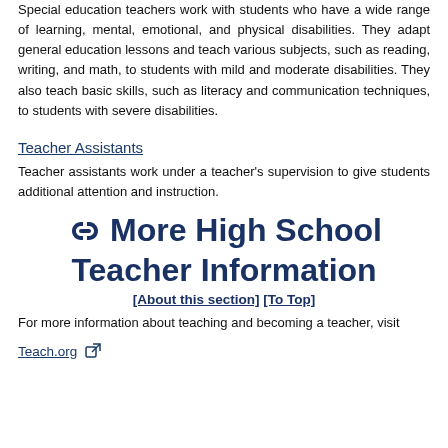Special education teachers work with students who have a wide range of learning, mental, emotional, and physical disabilities. They adapt general education lessons and teach various subjects, such as reading, writing, and math, to students with mild and moderate disabilities. They also teach basic skills, such as literacy and communication techniques, to students with severe disabilities.
Teacher Assistants
Teacher assistants work under a teacher's supervision to give students additional attention and instruction.
More High School Teacher Information
[About this section] [To Top]
For more information about teaching and becoming a teacher, visit
Teach.org